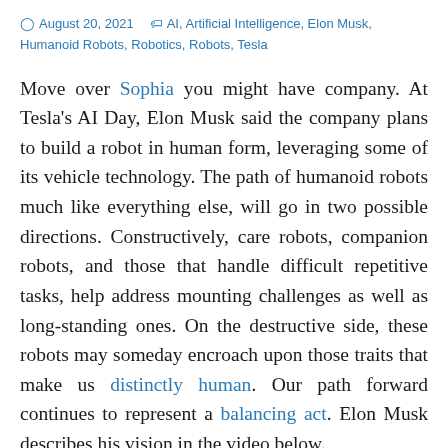August 20, 2021   AI, Artificial Intelligence, Elon Musk, Humanoid Robots, Robotics, Robots, Tesla
Move over Sophia you might have company. At Tesla's AI Day, Elon Musk said the company plans to build a robot in human form, leveraging some of its vehicle technology. The path of humanoid robots much like everything else, will go in two possible directions. Constructively, care robots, companion robots, and those that handle difficult repetitive tasks, help address mounting challenges as well as long-standing ones. On the destructive side, these robots may someday encroach upon those traits that make us distinctly human. Our path forward continues to represent a balancing act. Elon Musk describes his vision in the video below.